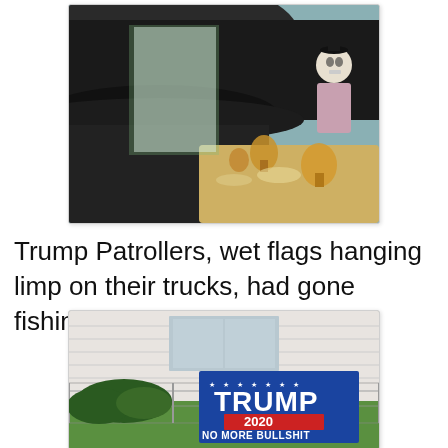[Figure (photo): Close-up of a person wearing a dark fedora hat seen from behind, with a skeleton figure wearing a hat and blouse visible across a table set with amber glassware and plates, in a room with teal/turquoise walls.]
Trump Patrollers, wet flags hanging limp on their trucks, had gone fishing.
[Figure (photo): A blue Trump 2020 'No More Bullshit' flag hanging on a chain-link fence in front of a white building with green shrubs.]